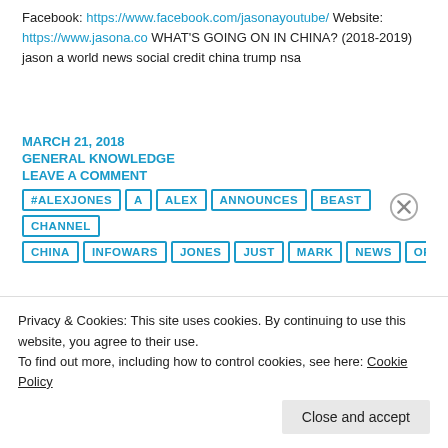Facebook: https://www.facebook.com/jasonayoutube/ Website: https://www.jasona.co WHAT'S GOING ON IN CHINA? (2018-2019) jason a world news social credit china trump nsa
MARCH 21, 2018
GENERAL KNOWLEDGE
LEAVE A COMMENT
#ALEXJONES
A
ALEX
ANNOUNCES
BEAST
CHANNEL
CHINA
INFOWARS
JONES
JUST
MARK
NEWS
OF
Privacy & Cookies: This site uses cookies. By continuing to use this website, you agree to their use.
To find out more, including how to control cookies, see here: Cookie Policy
Close and accept